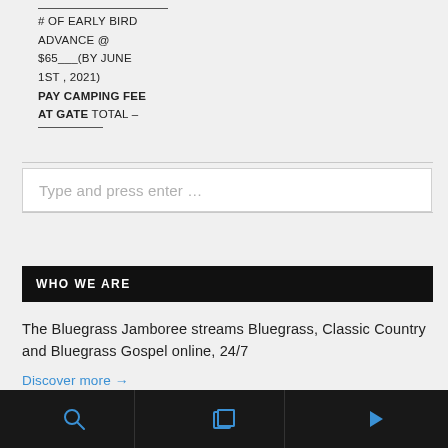# OF EARLY BIRD ADVANCE @ $65___(BY JUNE 1ST, 2021) PAY CAMPING FEE AT GATE TOTAL – _______
Type and press enter ...
WHO WE ARE
The Bluegrass Jamboree streams Bluegrass, Classic Country and Bluegrass Gospel online, 24/7
Discover more →